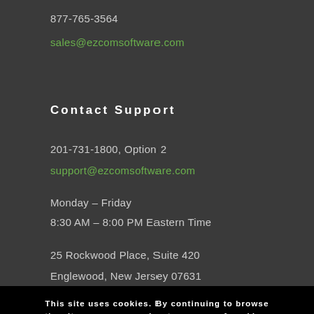877-765-3564
sales@ezcomsoftware.com
Contact Support
201-731-1800, Option 2
support@ezcomsoftware.com
Monday – Friday
8:30 AM – 8:00 PM Eastern Time
25 Rockwood Place, Suite 420
Englewood, New Jersey 07631
This site uses cookies. By continuing to browse the site, you are agreeing to our use of cookies.
© 2022 eZCom Software Inc. Website Terms of Use | Privacy Policy